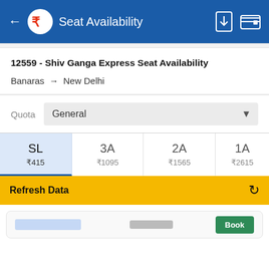Seat Availability
12559 - Shiv Ganga Express Seat Availability
Banaras → New Delhi
Quota: General
| SL | 3A | 2A | 1A |
| --- | --- | --- | --- |
| ₹415 | ₹1095 | ₹1565 | ₹2615 |
Refresh Data